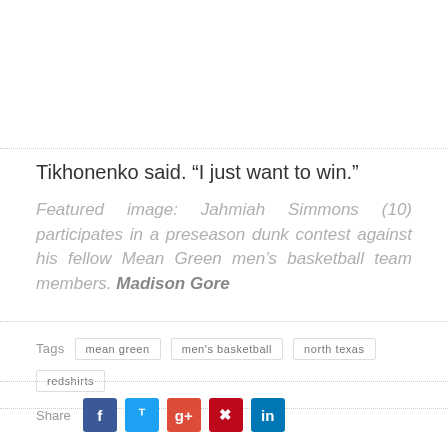Tikhonenko said. “I just want to win.”
Featured image: Jahmiah Simmons (10) participates in a preseason dunk contest against his fellow Mean Green men’s basketball team members. Madison Gore
Tags  mean green  men's basketball  north texas  redshirts
Share